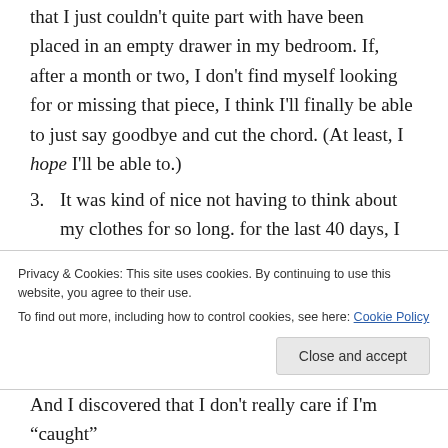that I just couldn't quite part with have been placed in an empty drawer in my bedroom. If, after a month or two, I don't find myself looking for or missing that piece, I think I'll finally be able to just say goodbye and cut the chord. (At least, I hope I'll be able to.)
3. It was kind of nice not having to think about my clothes for so long. for the last 40 days, I had a list. I had a plan. There was no forethought needed. Dressing myself again for the last week has proven to me that I still don't quite know what the hell I'm doing, style-wise.
Privacy & Cookies: This site uses cookies. By continuing to use this website, you agree to their use. To find out more, including how to control cookies, see here: Cookie Policy
And I discovered that I don't really care if I'm "caught"